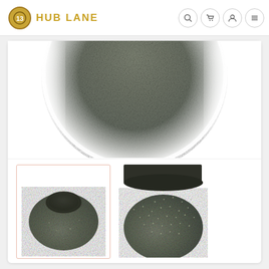Hub Lane — website header with logo and navigation icons
[Figure (photo): Close-up zoomed top view of a dark textured ceramic/stone decorative bowl, blurred at edges, showing the bowl's top surface with detailed texture pattern]
[Figure (photo): Thumbnail (selected, pink border) of a dark textured round decorative bowl seen from a three-quarter angle showing the opening and outer textured surface]
[Figure (photo): Thumbnail of a dark textured decorative bowl seen from side/angle showing detailed surface texture with small embossed dots]